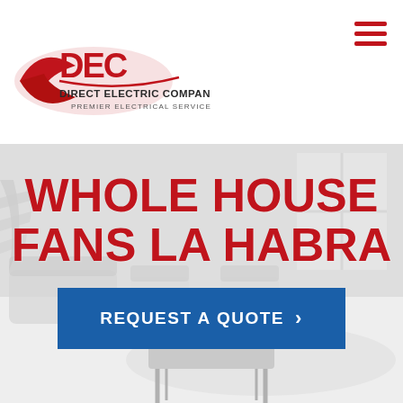[Figure (logo): Direct Electric Company logo with red DEC letters and text 'PREMIER ELECTRICAL SERVICES']
[Figure (other): Hamburger menu icon — three horizontal red bars]
[Figure (photo): Faded/washed-out interior room photo used as hero background]
WHOLE HOUSE FANS LA HABRA
REQUEST A QUOTE >